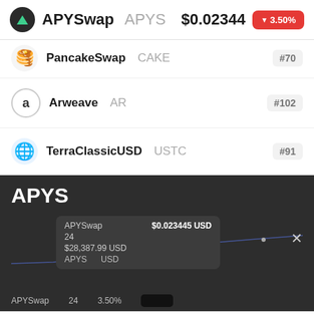APYSwap APYS  $0.02344  -3.50%
PancakeSwap CAKE  #70
Arweave AR  #102
TerraClassicUSD USTC  #91
[Figure (continuous-plot): APYS price chart in dark theme with tooltip overlay showing APYSwap $0.023445 USD, 24, $28,387.99 USD, APYS USD labels and close button]
Use CoinMarketCap APP - Get a better and more comprehensive user experience - OPEN